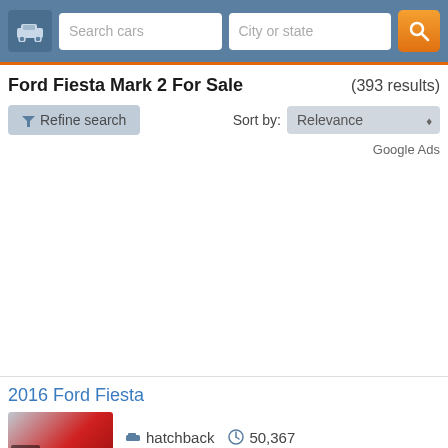Search cars | City or state
Ford Fiesta Mark 2 For Sale (393 results)
Refine search  Sort by: Relevance
Google Ads
2016 Ford Fiesta
hatchback  50,367